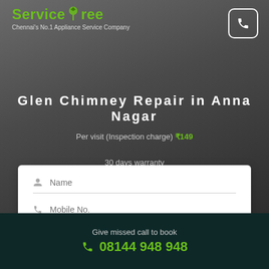ServiceTree — Chennai's No.1 Appliance Service Company
Glen Chimney Repair in Anna Nagar
Per visit (Inspection charge) ₹149
30 days warranty
[Figure (screenshot): Booking form with Name and Mobile No. fields and a green Book Now button]
By clicking Book Now, you agree to our terms
Give missed call to book 08144 948 948